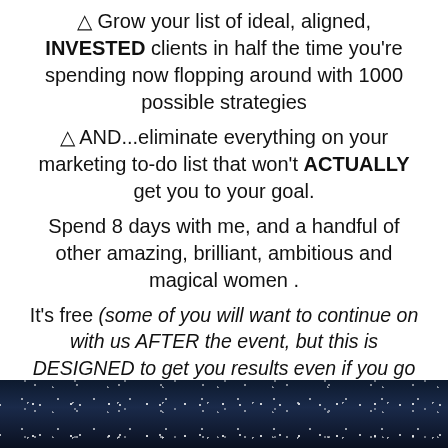△ Grow your list of ideal, aligned, INVESTED clients in half the time you're spending now flopping around with 1000 possible strategies
△ AND...eliminate everything on your marketing to-do list that won't ACTUALLY get you to your goal.
Spend 8 days with me, and a handful of other amazing, brilliant, ambitious and magical women .
It's free (some of you will want to continue on with us AFTER the event, but this is DESIGNED to get you results even if you go your own way immediately after...).
[Figure (photo): Dark navy blue starry night sky background strip at the bottom of the page]